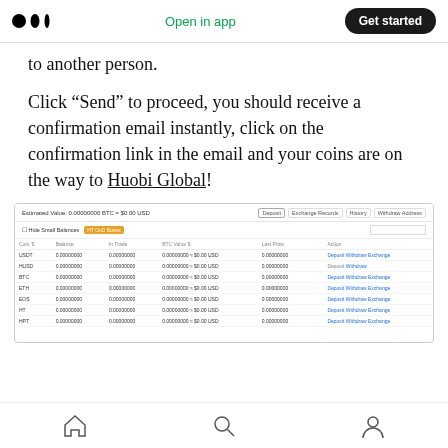Medium logo | Open in app | Get started
to another person.
Click “Send” to proceed, you should receive a confirmation email instantly, click on the confirmation link in the email and your coins are on the way to Huobi Global!
[Figure (screenshot): Screenshot of Huobi Global exchange interface showing a balance table with columns for Coin, Balance, In Trade, BTC Value, Last Price, and Action. Rows include USDT, HUSD, BTC, ETH, EOS, HT, HPT all showing 0.00000000 values. Tab buttons: Deposit, Exchange Records, History, Withdraw Address.]
Home | Search | Profile navigation icons